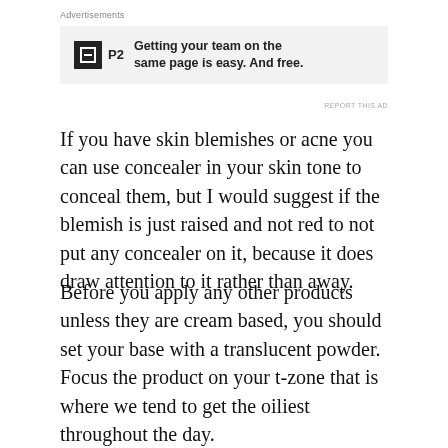Advertisements
[Figure (other): Advertisement banner for P2 with text: Getting your team on the same page is easy. And free.]
If you have skin blemishes or acne you can use concealer in your skin tone to conceal them, but I would suggest if the blemish is just raised and not red to not put any concealer on it, because it does draw attention to it rather than away.
Before you apply any other products unless they are cream based, you should set your base with a translucent powder. Focus the product on your t-zone that is where we tend to get the oiliest throughout the day.